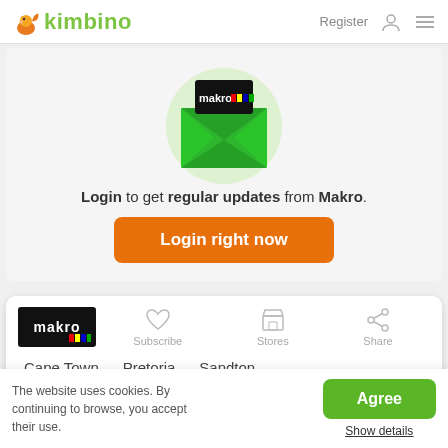kimbino  Register
[Figure (illustration): Green envelope with Makro logo card inside, on a light green circular background]
Login to get regular updates from Makro.
Login right now
[Figure (logo): Makro logo bar with Subscribe, Stores, Share icons]
Cape Town   Pretoria   Sandton
The website uses cookies. By continuing to browse, you accept their use.
Agree
Show details